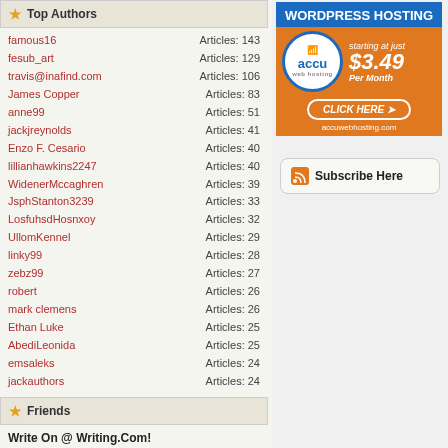Top Authors
famous16  Articles: 143
fesub_art  Articles: 129
travis@inafind.com  Articles: 106
James Copper  Articles: 83
anne99  Articles: 51
jackjreynolds  Articles: 41
Enzo F. Cesario  Articles: 40
lillianhawkins2247  Articles: 40
WidenerMccaghren  Articles: 39
JsphStanton3239  Articles: 33
LosfuhsdHosnxoy  Articles: 32
UllomKennel  Articles: 29
linky99  Articles: 28
zebz99  Articles: 27
robert  Articles: 26
mark clemens  Articles: 26
Ethan Luke  Articles: 25
AbediLeonida  Articles: 25
emsaleks  Articles: 24
jackauthors  Articles: 24
[Figure (infographic): AccuWebHosting advertisement for WordPress hosting starting at $3.49 per month with click here button]
Friends
Write On @ Writing.Com!
Tags
[Figure (infographic): Subscribe Here button with RSS icon]